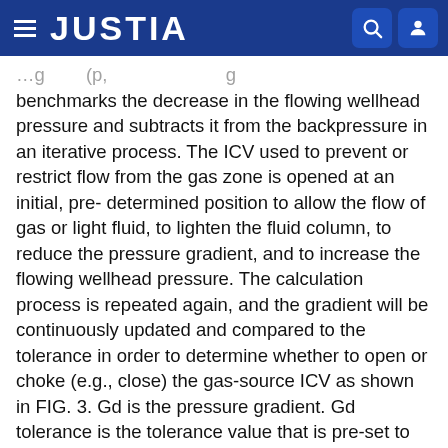JUSTIA
benchmarks the decrease in the flowing wellhead pressure and subtracts it from the backpressure in an iterative process. The ICV used to prevent or restrict flow from the gas zone is opened at an initial, pre-determined position to allow the flow of gas or light fluid, to lighten the fluid column, to reduce the pressure gradient, and to increase the flowing wellhead pressure. The calculation process is repeated again, and the gradient will be continuously updated and compared to the tolerance in order to determine whether to open or choke (e.g., close) the gas-source ICV as shown in FIG. 3. Gd is the pressure gradient. Gd tolerance is the tolerance value that is pre-set to be benchmarked with respect to the subtracted value between the Gdp, the dynamic pressure gradient during the flowing condition, and the Gdpr, reference pressure gradient. PBp is the